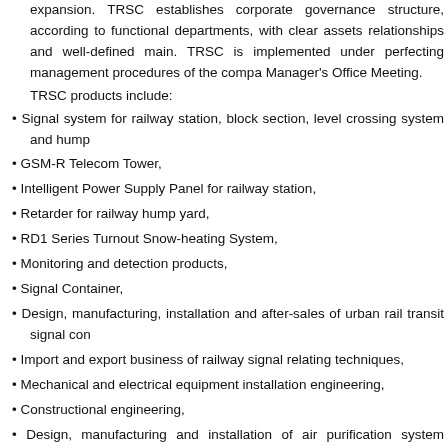expansion. TRSC establishes corporate governance structure, according to functional departments, with clear assets relationships and well-defined main. TRSC is implemented under perfecting management procedures of the company Manager's Office Meeting.
TRSC products include:
Signal system for railway station, block section, level crossing system and hump
GSM-R Telecom Tower,
Intelligent Power Supply Panel for railway station,
Retarder for railway hump yard,
RD1 Series Turnout Snow-heating System,
Monitoring and detection products,
Signal Container,
Design, manufacturing, installation and after-sales of urban rail transit signal con
Import and export business of railway signal relating techniques,
Mechanical and electrical equipment installation engineering,
Constructional engineering,
Design, manufacturing and installation of air purification system (Honeycomb El
According to TRSC products,
29 kinds of REAC accreditation and CRCC certification issued by former